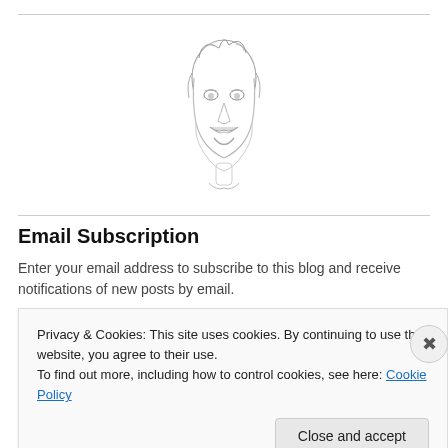[Figure (illustration): Pencil sketch caricature of a man with exaggerated smiling face, mustache, and short hair]
Email Subscription
Enter your email address to subscribe to this blog and receive notifications of new posts by email.
Privacy & Cookies: This site uses cookies. By continuing to use this website, you agree to their use. To find out more, including how to control cookies, see here: Cookie Policy
Close and accept